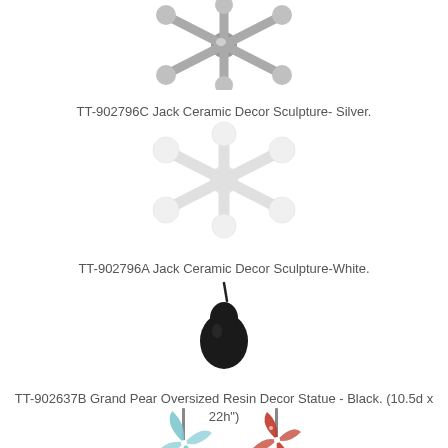[Figure (photo): Silver jack ceramic decor sculpture photographed from above on white background]
TT-902796C Jack Ceramic Decor Sculpture- Silver.
[Figure (photo): White jack ceramic decor sculpture on white background]
TT-902796A Jack Ceramic Decor Sculpture-White.
[Figure (photo): Black grand pear oversized resin decor statue on white background]
TT-902637B Grand Pear Oversized Resin Decor Statue - Black. (10.5d x 22h")
[Figure (photo): Two pinwheel decor items, one light blue and one red/white, partially visible at bottom of page]